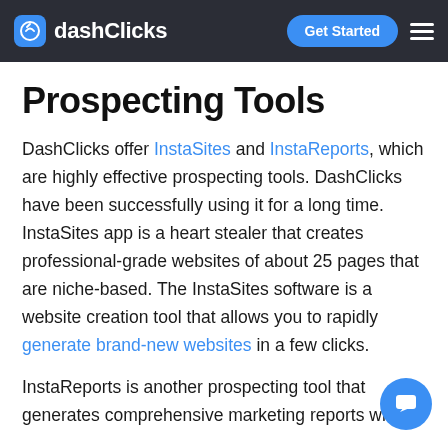dashClicks | Get Started
Prospecting Tools
DashClicks offer InstaSites and InstaReports, which are highly effective prospecting tools. DashClicks have been successfully using it for a long time. InstaSites app is a heart stealer that creates professional-grade websites of about 25 pages that are niche-based. The InstaSites software is a website creation tool that allows you to rapidly generate brand-new websites in a few clicks.
InstaReports is another prospecting tool that generates comprehensive marketing reports with